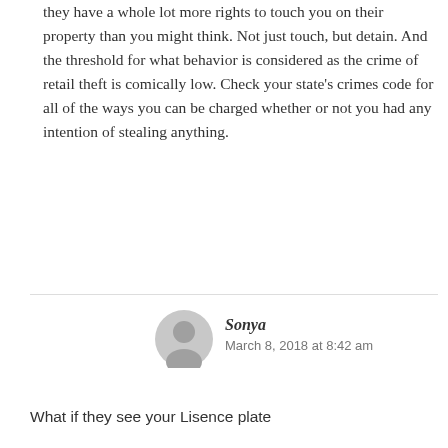they have a whole lot more rights to touch you on their property than you might think. Not just touch, but detain. And the threshold for what behavior is considered as the crime of retail theft is comically low. Check your state's crimes code for all of the ways you can be charged whether or not you had any intention of stealing anything.
Sonya
March 8, 2018 at 8:42 am
What if they see your Lisence plate